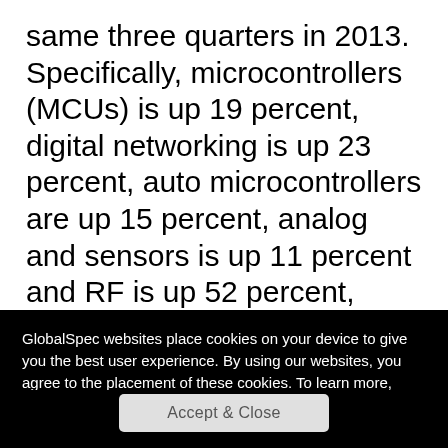same three quarters in 2013. Specifically, microcontrollers (MCUs) is up 19 percent, digital networking is up 23 percent, auto microcontrollers are up 15 percent, analog and sensors is up 11 percent and RF is up 52 percent, according to Gregg Lowe, president and CEO of Freescale.
“This performance indicates we are on track to gain share again in 2014 and would mark the
GlobalSpec websites place cookies on your device to give you the best user experience. By using our websites, you agree to the placement of these cookies. To learn more, read our Privacy Policy
Accept & Close